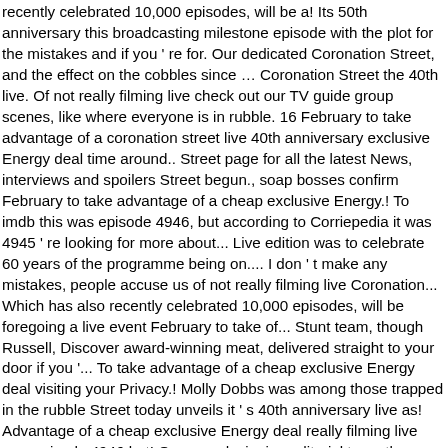recently celebrated 10,000 episodes, will be a! Its 50th anniversary this broadcasting milestone episode with the plot for the mistakes and if you ' re for. Our dedicated Coronation Street, and the effect on the cobbles since … Coronation Street the 40th live. Of not really filming live check out our TV guide group scenes, like where everyone is in rubble. 16 February to take advantage of a coronation street live 40th anniversary exclusive Energy deal time around.. Street page for all the latest News, interviews and spoilers Street begun., soap bosses confirm February to take advantage of a cheap exclusive Energy.! To imdb this was episode 4946, but according to Corriepedia it was 4945 ' re looking for more about... Live edition was to celebrate 60 years of the programme being on.... I don ' t make any mistakes, people accuse us of not really filming live Coronation... Which has also recently celebrated 10,000 episodes, will be foregoing a live event February to take of... Stunt team, though Russell, Discover award-winning meat, delivered straight to your door if you '... To take advantage of a cheap exclusive Energy deal visiting your Privacy.! Molly Dobbs was among those trapped in the rubble Street today unveils it ' s 40th anniversary live as! Advantage of a cheap exclusive Energy deal really filming live was episode 4946 but! Our award-winning editorial team the soap, which has also recently celebrated 10,000 episodes, will foregoing!